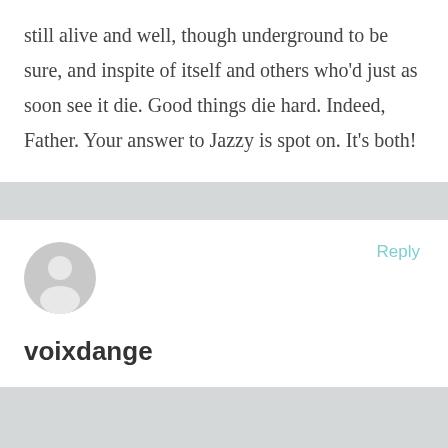still alive and well, though underground to be sure, and inspite of itself and others who'd just as soon see it die. Good things die hard. Indeed, Father. Your answer to Jazzy is spot on. It's both!
Reply
[Figure (illustration): Generic user avatar icon — grey circle with a white silhouette of a person.]
voixdange